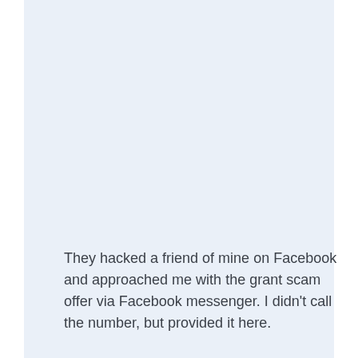They hacked a friend of mine on Facebook and approached me with the grant scam offer via Facebook messenger. I didn't call the number, but provided it here.